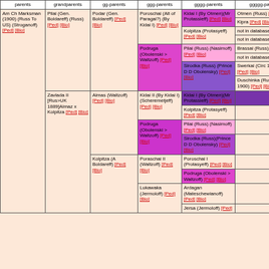| parents | grandparents | gg-parents | ggg-parents | gggg-parents | ggggg-parents |
| --- | --- | --- | --- | --- | --- |
| Am Ch Marksman (1900) (Russ To US) (Stroganoff) [Ped] [Bio] | Pilai (Gen. Boldareff) (Russ) [Ped] [Bio] | Podar (Gen. Boldareff) [Ped] [Bio] | Poroschai (Alt of Paragai?) (By Kidai I) [Ped] [Bio] | Kidai I (By Otmen)(Mr Protassieff) [Ped] [Bio] | Otmen (Russ) [Ped] [Bio] |
|  |  |  |  |  | Kipra [Ped] [Bio] |
|  |  |  |  | Kolpitza (Protasyeff) [Ped] [Bio] | not in database |
|  |  |  |  |  | not in database |
|  |  |  | Podruga (Obolenski > Waltzoff) [Ped] [Bio] | Pilai (Russ) (Nasimoff) [Ped] [Bio] | Brassai (Russ) [Ped] [Bio] |
|  |  |  |  |  | not in database |
|  |  |  |  | Sirodka (Russ) (Prince D D Obolensky) [Ped] [Bio] | Swerkai (Circ 1877?) [Ped] [Bio] |
|  |  |  |  |  | Duschinka (Russ pre 1900) [Ped] [Bio] |
|  |  |  | Almas (Waltzoff) [Ped] [Bio] | Kidai II (By Kidai I) (Scheremetjeff) [Ped] [Bio] | Kidai I (By Otmen)(Mr Protassieff) [Ped] [Bio] |
|  |  |  |  |  | Kolpitza (Protasyeff) [Ped] [Bio] |
|  |  |  |  | Podruga (Obolenski > Waltzoff) [Ped] [Bio] | Pilai (Russ) (Nasimoff) [Ped] [Bio] |
|  |  |  |  |  | Sirodka (Russ)(Prince D D Obolensky) [Ped] [Bio] |
|  |  |  | Kolpitza (A Boldareff) [Ped] [Bio] | Poraschai II (Waltzoff) [Ped] [Bio] | Poroschai I (Protasyeff) [Ped] [Bio] |
|  |  |  |  |  | Podruga (Obolenski > Waltzoff) [Ped] [Bio] |
|  |  |  |  | Lukawaka (Jermoloff) [Ped] [Bio] | Ardagan (Mateschewianoff) [Ped] [Bio] |
|  |  |  |  |  | Jersa (Jermoloff) [Ped] |